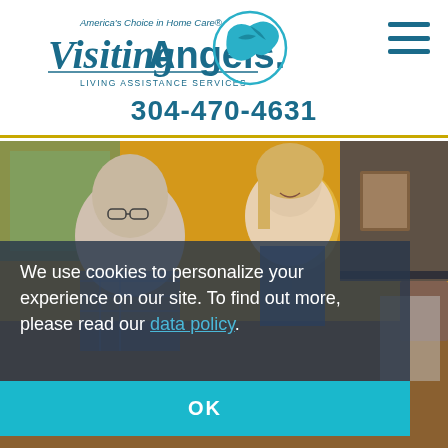[Figure (logo): Visiting Angels logo with tagline 'America's Choice in Home Care' and 'Living Assistance Services', teal bird graphic]
304-470-4631
[Figure (photo): Photo of elderly man and younger woman smiling, looking at something together in a warmly lit room with framed photos on shelves]
We use cookies to personalize your experience on our site. To find out more, please read our data policy.
OK